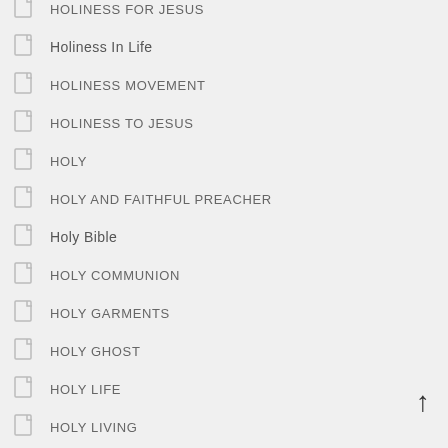HOLINESS FOR JESUS
Holiness In Life
HOLINESS MOVEMENT
HOLINESS TO JESUS
HOLY
HOLY AND FAITHFUL PREACHER
Holy Bible
HOLY COMMUNION
HOLY GARMENTS
HOLY GHOST
HOLY LIFE
HOLY LIVING
Holy Ministers
HOLY REVIVAL
Holy Spirit